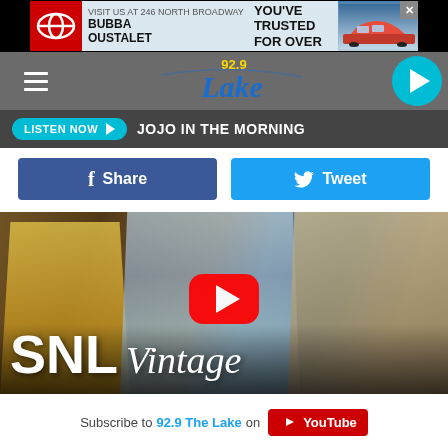[Figure (screenshot): Bubba Oustalet Toyota advertisement banner: 'Visit us at 246 North Broadway, A Name You've Trusted For Over 60 Years']
[Figure (screenshot): 92.9 Lake radio station navigation bar with hamburger menu, logo, and play button]
LISTEN NOW ▶  JOJO IN THE MORNING
[Figure (screenshot): Facebook Share button and Twitter Tweet button]
[Figure (screenshot): SNL Vintage YouTube video thumbnail showing performers in period costumes with SNL Vintage logo and YouTube play button overlay]
Subscribe to 92.9 The Lake on YouTube